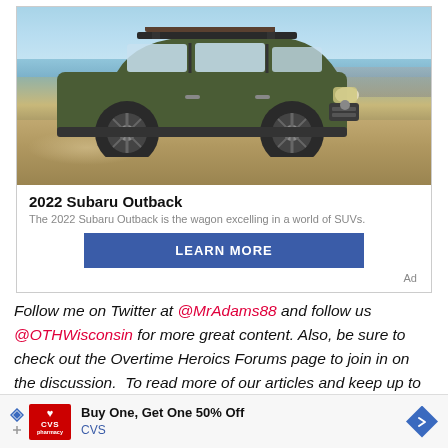[Figure (photo): 2022 Subaru Outback olive green SUV driving on a sandy/dirt road near water, with roof rack carrying gear, photographed from the side]
2022 Subaru Outback
The 2022 Subaru Outback is the wagon excelling in a world of SUVs.
LEARN MORE
Ad
Follow me on Twitter at @MrAdams88 and follow us @OTHWisconsin for more great content. Also, be sure to check out the Overtime Heroics Forums page to join in on the discussion.  To read more of our articles and keep up to date on the latest in Wisconsin sports, click here!
[Figure (other): CVS Pharmacy advertisement banner: Buy One, Get One 50% Off, CVS]